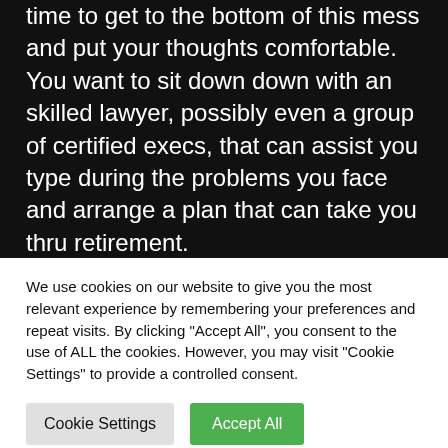time to get to the bottom of this mess and put your thoughts comfortable. You want to sit down down with an skilled lawyer, possibly even a group of certified execs, that can assist you type during the problems you face and arrange a plan that can take you thru retirement.

First, you'll want an lawyer with revel in in actual property and property making plans, who additionally has experience in federal property and source of revenue tax rules as they pertain to actual property possession and transfers. If one lawyer
We use cookies on our website to give you the most relevant experience by remembering your preferences and repeat visits. By clicking "Accept All", you consent to the use of ALL the cookies. However, you may visit "Cookie Settings" to provide a controlled consent.